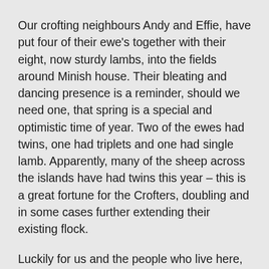Our crofting neighbours Andy and Effie, have put four of their ewe's together with their eight, now sturdy lambs, into the fields around Minish house. Their bleating and dancing presence is a reminder, should we need one, that spring is a special and optimistic time of year. Two of the ewes had twins, one had triplets and one had single lamb. Apparently, many of the sheep across the islands have had twins this year – this is a great fortune for the Crofters, doubling and in some cases further extending their existing flock.
Luckily for us and the people who live here, there has been more local fish produce available to buy, because of lockdown. We celebrated this and had a wonderful seafood weekend with langoustines, crab and lobster (a delicious cholesterol fest) with a loaf of [linked text]...